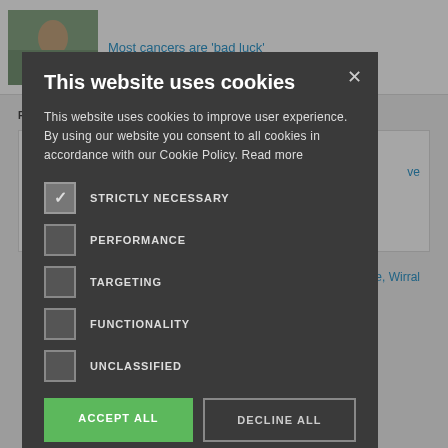[Figure (screenshot): Background webpage showing a cancer news article with photo of a person and the text 'Most cancers are bad luck' in blue link text, partially visible behind a cookie consent modal overlay.]
This website uses cookies
This website uses cookies to improve user experience. By using our website you consent to all cookies in accordance with our Cookie Policy. Read more
STRICTLY NECESSARY
PERFORMANCE
TARGETING
FUNCTIONALITY
UNCLASSIFIED
ACCEPT ALL
DECLINE ALL
SHOW DETAILS